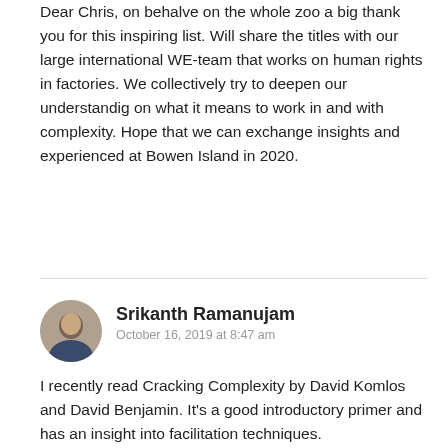Dear Chris, on behalve on the whole zoo a big thank you for this inspiring list. Will share the titles with our large international WE-team that works on human rights in factories. We collectively try to deepen our understandig on what it means to work in and with complexity. Hope that we can exchange insights and experienced at Bowen Island in 2020.
Srikanth Ramanujam
October 16, 2019 at 8:47 am
I recently read Cracking Complexity by David Komlos and David Benjamin. It's a good introductory primer and has an insight into facilitation techniques.